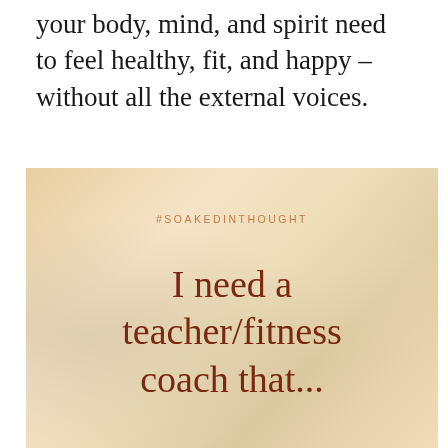your body, mind, and spirit need to feel healthy, fit, and happy – without all the external voices.
[Figure (infographic): Warm beige/tan background image with soft fabric texture overlay. Contains hashtag '#SOAKEDINTHOUGHT' in small spaced orange letters, and large dark red text reading 'I need a teacher/fitness coach that...']